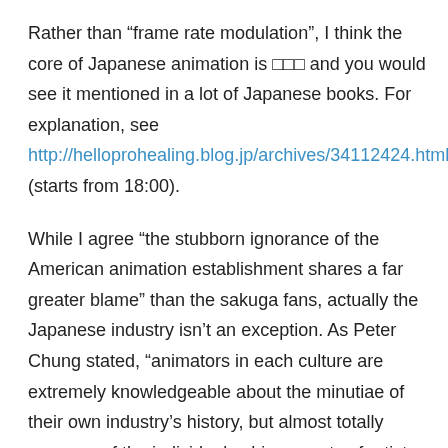Rather than “frame rate modulation”, I think the core of Japanese animation is □□□ and you would see it mentioned in a lot of Japanese books. For explanation, see http://helloprohealing.blog.jp/archives/34112424.html (starts from 18:00).
While I agree “the stubborn ignorance of the American animation establishment shares a far greater blame” than the sakuga fans, actually the Japanese industry isn’t an exception. As Peter Chung stated, “animators in each culture are extremely knowledgeable about the minutiae of their own industry’s history, but almost totally unaware of the individual achievements of artists of the other side. To Japanese animators, most